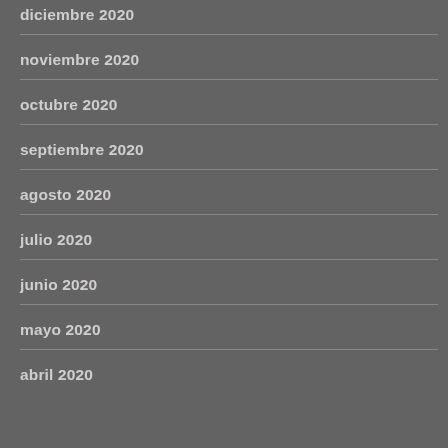diciembre 2020
noviembre 2020
octubre 2020
septiembre 2020
agosto 2020
julio 2020
junio 2020
mayo 2020
abril 2020